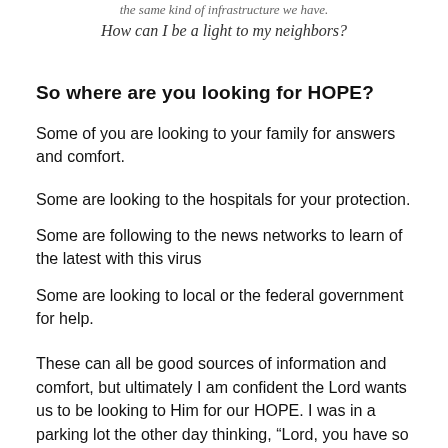the same kind of infrastructure we have.
How can I be a light to my neighbors?
So where are you looking for HOPE?
Some of you are looking to your family for answers and comfort.
Some are looking to the hospitals for your protection.
Some are following to the news networks to learn of the latest with this virus
Some are looking to local or the federal government for help.
These can all be good sources of information and comfort, but ultimately I am confident the Lord wants us to be looking to Him for our HOPE. I was in a parking lot the other day thinking, “Lord, you have so many people praying to you right now, you must be really busy, in fact